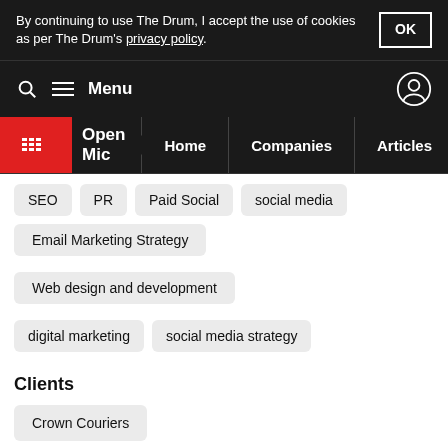By continuing to use The Drum, I accept the use of cookies as per The Drum's privacy policy.
OK
Menu
Open Mic
Home
Companies
Articles
SEO
PR
Paid Social
social media
Email Marketing Strategy
Web design and development
digital marketing
social media strategy
Clients
Crown Couriers